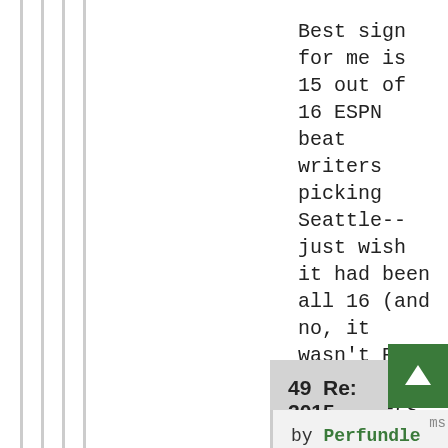Best sign for me is 15 out of 16 ESPN beat writers picking Seattle-- just wish it had been all 16 (and no, it wasn't Rob Demozvsky-- who covers GB-- it was the Tampa Bay guy!)-- 2001 Super Bowl, anyone?? Or 1997 Super Bowl (more painfully)
Log in or register to post comments
49  Re: 2015 NFC Championship Preview
by Perfundle // Jan 16, 2015 - 4:18pm